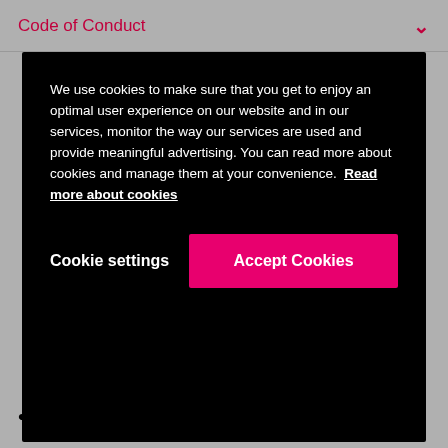Code of Conduct
We use cookies to make sure that you get to enjoy an optimal user experience on our website and in our services, monitor the way our services are used and provide meaningful advertising. You can read more about cookies and manage them at your convenience. Read more about cookies
Cookie settings
Accept Cookies
All employees deserve a workplace environment, independent of work location, that is free from harassment, intimidation, discrimination or threats of violence for any reason, including actions based on gender, sexual orientation or identity, race, ethnicity, disability, national origin, religious or cultural beliefs or citizenship
We view employee diversity as a competitive